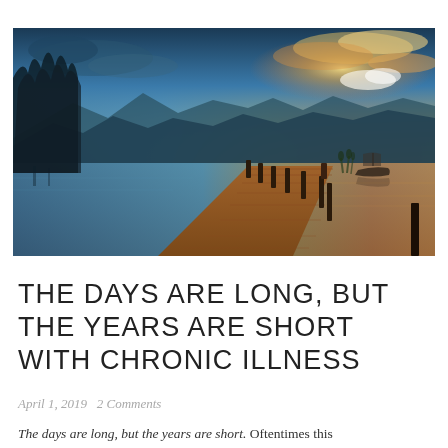[Figure (photo): Landscape photograph of a wooden dock/pier extending over a calm lake at sunset/twilight. Trees silhouetted on the left, mountains in the background, colorful sky with blue, orange and yellow hues. A small boat is visible near the far end of the dock.]
THE DAYS ARE LONG, BUT THE YEARS ARE SHORT WITH CHRONIC ILLNESS
April 1, 2019   2 Comments
The days are long, but the years are short. Oftentimes this